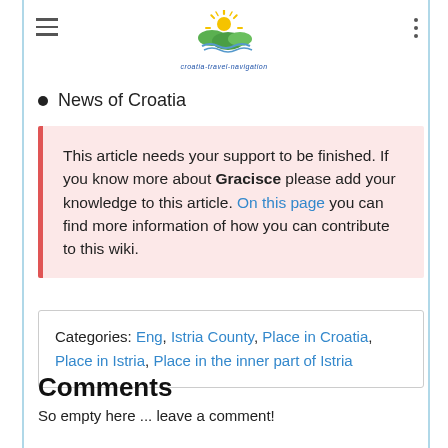[Figure (logo): Croatia Travel Navigation website logo with sun and landscape illustration and site name text]
News of Croatia
This article needs your support to be finished. If you know more about Gracisce please add your knowledge to this article. On this page you can find more information of how you can contribute to this wiki.
Categories: Eng, Istria County, Place in Croatia, Place in Istria, Place in the inner part of Istria
Comments
So empty here ... leave a comment!